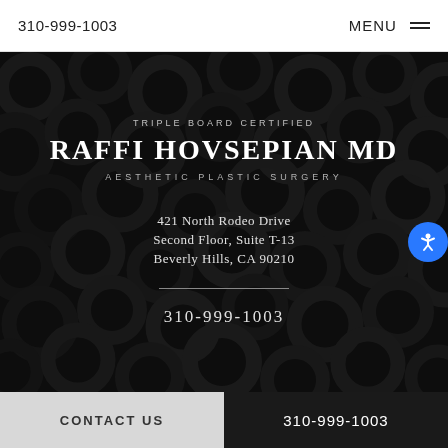310-999-1003    MENU
[Figure (photo): Dark background of stacked black rubber washers/rings, used as decorative hero image for a plastic surgery practice website]
TRIPLE BOARD CERTIFIED
RAFFI HOVSEPIAN MD
AESTHETIC PLASTIC SURGERY
421 North Rodeo Drive
Second Floor, Suite T-13
Beverly Hills, CA 90210
310-999-1003
CONTACT US    310-999-1003